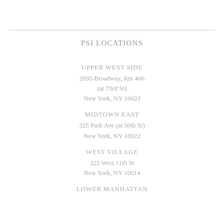PSI LOCATIONS
UPPER WEST SIDE
2095 Broadway, Rm 406
(at 73rd St)
New York, NY 10023
MIDTOWN EAST
325 Park Ave (at 50th St)
New York, NY 10022
WEST VILLAGE
222 West 11th St
New York, NY 10014
LOWER MANHATTAN